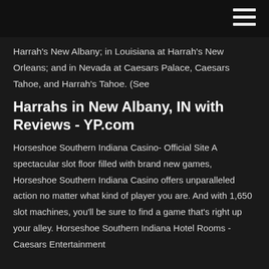Harrah's New Albany; in Louisiana at Harrah's New Orleans; and in Nevada at Caesars Palace, Caesars Tahoe, and Harrah's Tahoe. (See
Harrahs in New Albany, IN with Reviews - YP.com
Horseshoe Southern Indiana Casino- Official Site A spectacular slot floor filled with brand new games, Horseshoe Southern Indiana Casino offers unparalleled action no matter what kind of player you are. And with 1,650 slot machines, you'll be sure to find a game that's right up your alley. Horseshoe Southern Indiana Hotel Rooms - Caesars Entertainment